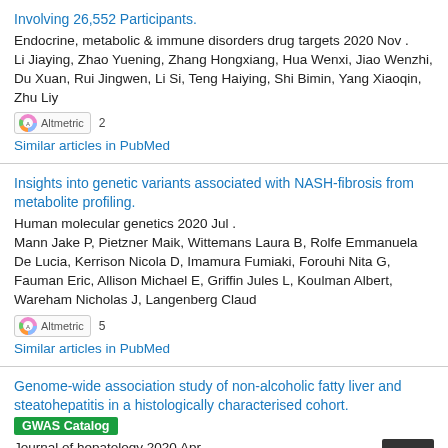Involving 26,552 Participants. Endocrine, metabolic & immune disorders drug targets 2020 Nov . Li Jiaying, Zhao Yuening, Zhang Hongxiang, Hua Wenxi, Jiao Wenzhi, Du Xuan, Rui Jingwen, Li Si, Teng Haiying, Shi Bimin, Yang Xiaoqin, Zhu Liy
Altmetric 2
Similar articles in PubMed
Insights into genetic variants associated with NASH-fibrosis from metabolite profiling. Human molecular genetics 2020 Jul . Mann Jake P, Pietzner Maik, Wittemans Laura B, Rolfe Emmanuela De Lucia, Kerrison Nicola D, Imamura Fumiaki, Forouhi Nita G, Fauman Eric, Allison Michael E, Griffin Jules L, Koulman Albert, Wareham Nicholas J, Langenberg Claud
Altmetric 5
Similar articles in PubMed
Genome-wide association study of non-alcoholic fatty liver and steatohepatitis in a histologically characterised cohort.
GWAS Catalog
Journal of hepatology 2020 Apr .
Anstee Quentin M, Darlay Rebecca, Cockell Simon, Meroni Marica